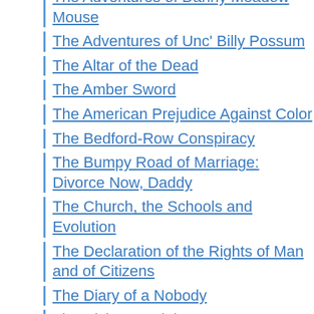The Adventures of Danny Meadow Mouse
The Adventures of Unc' Billy Possum
The Altar of the Dead
The Amber Sword
The American Prejudice Against Color
The Bedford-Row Conspiracy
The Bumpy Road of Marriage: Divorce Now, Daddy
The Church, the Schools and Evolution
The Declaration of the Rights of Man and of Citizens
The Diary of a Nobody
The Divine Martial Stars
The Door of Heaven